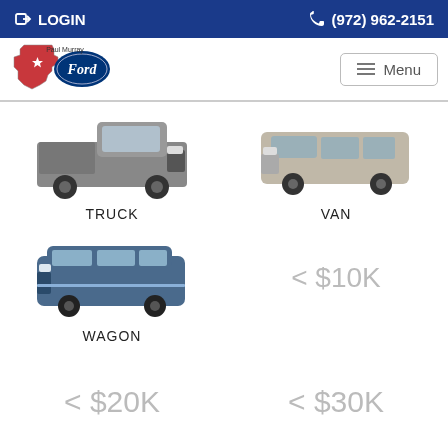LOGIN | (972) 962-2151
[Figure (logo): Paul Murray Ford dealership logo with Texas state outline]
Menu
[Figure (photo): Gray Ford truck (F-150) front 3/4 view]
TRUCK
[Figure (photo): Silver Ford van/Transit Connect front 3/4 view]
VAN
[Figure (photo): Blue Ford Flex wagon front 3/4 view]
WAGON
< $10K
< $20K
< $30K